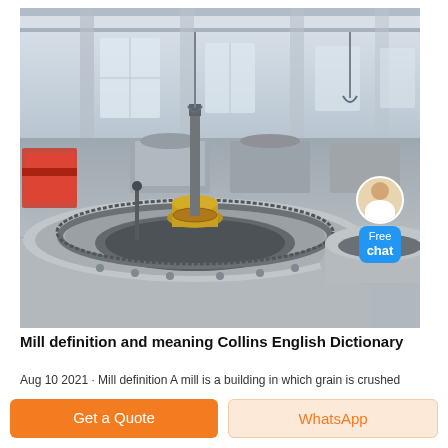[Figure (photo): Industrial factory interior showing large grinding mill equipment with large circular gear/ring assembly in foreground, factory floor with multiple mill units in background, overhead crane structure visible]
Mill definition and meaning Collins English Dictionary
Aug 10 2021 · Mill definition A mill is a building in which grain is crushed
Get a Quote
WhatsApp